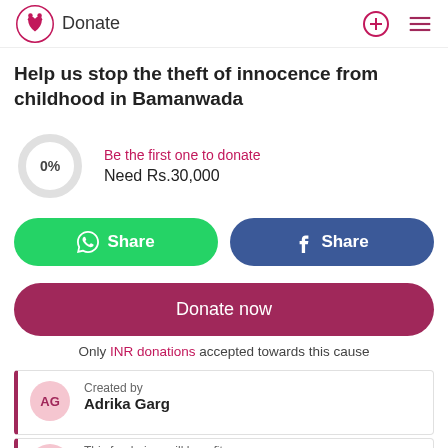Donate
Help us stop the theft of innocence from childhood in Bamanwada
0%
Be the first one to donate
Need Rs.30,000
Share  Share
Donate now
Only INR donations accepted towards this cause
Created by
Adrika Garg
This fundraiser will benefit
Ma...